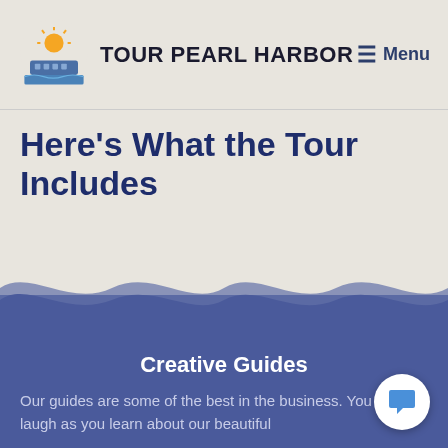TOUR PEARL HARBOR  Menu
Here's What the Tour Includes
[Figure (illustration): Decorative wave divider SVG separating cream background from blue ocean section]
Creative Guides
Our guides are some of the best in the business. You will laugh as you learn about our beautiful